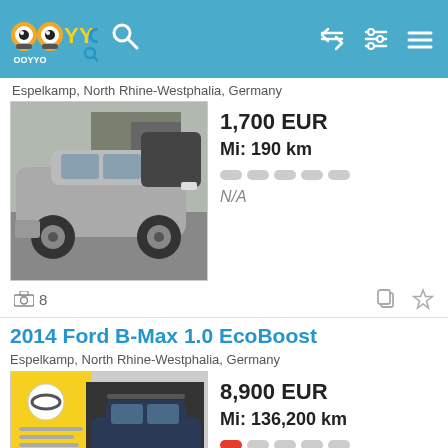[Figure (screenshot): OOYYO app header with logo, search icon, and navigation icons on teal background]
Espelkamp, North Rhine-Westphalia, Germany
[Figure (photo): Silver station wagon car parked on street]
1,700 EUR
Mi: 190 km
N/A
8  (camera icon with count)
2014 Ford B-Max 1.0 EcoBoost
Espelkamp, North Rhine-Westphalia, Germany
[Figure (photo): Dark blue Ford B-Max with yellow Opel dealer sticker]
8,900 EUR
Mi: 136,200 km
Overpriced